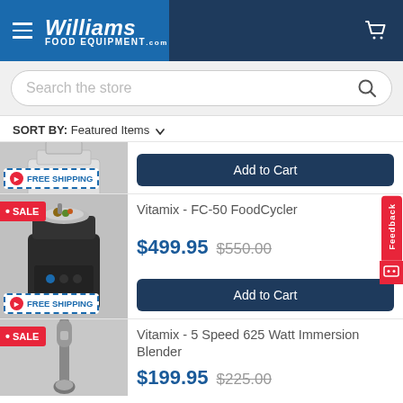Williams Food Equipment
Search the store
SORT BY: Featured Items
[Figure (photo): Partial view of a kitchen appliance, cut off at top. FREE SHIPPING badge visible.]
Add to Cart
[Figure (photo): Vitamix FC-50 FoodCycler appliance with a pan containing food on top. SALE badge and FREE SHIPPING badge visible.]
Vitamix - FC-50 FoodCycler
$499.95  $550.00
Add to Cart
[Figure (photo): Vitamix 5 Speed 625 Watt Immersion Blender product image. SALE badge visible.]
Vitamix - 5 Speed 625 Watt Immersion Blender
$199.95  $225.00